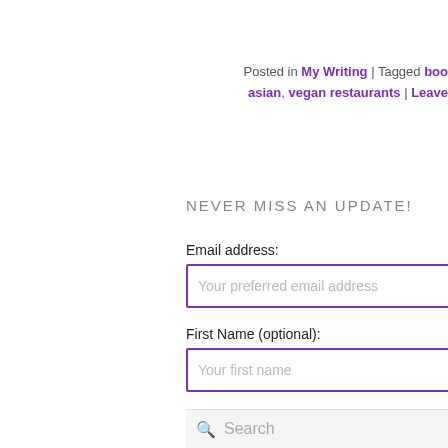Posted in My Writing | Tagged boo asian, vegan restaurants | Leave
NEVER MISS AN UPDATE!
Email address:
Your preferred email address
First Name (optional):
Your first name
Last Name (optional):
Your last name
Sign up
Search